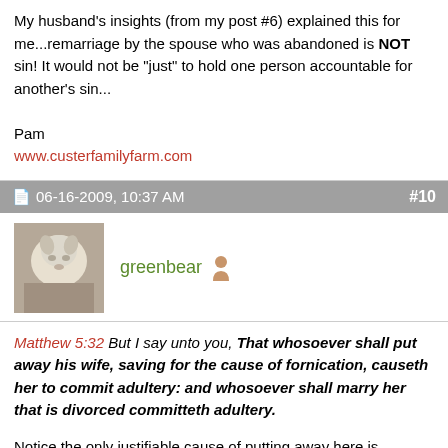My husband's insights (from my post #6) explained this for me...remarriage by the spouse who was abandoned is NOT sin! It would not be "just" to hold one person accountable for another's sin...

Pam
www.custerfamilyfarm.com
06-16-2009, 10:37 AM   #10
[Figure (photo): Avatar image of a white animal (lamb or goat), small square thumbnail]
greenbear [user icon]
Matthew 5:32 But I say unto you, That whosoever shall put away his wife, saving for the cause of fornication, causeth her to commit adultery: and whosoever shall marry her that is divorced committeth adultery.
Notice the only justifiable cause of putting away here is fornication, not adultery. Under the law, if the bride could not be demonstrated to be a virgin on her wedding night she was stoned.
Deuteronomy 22:13-21 If a man takes a wife and...